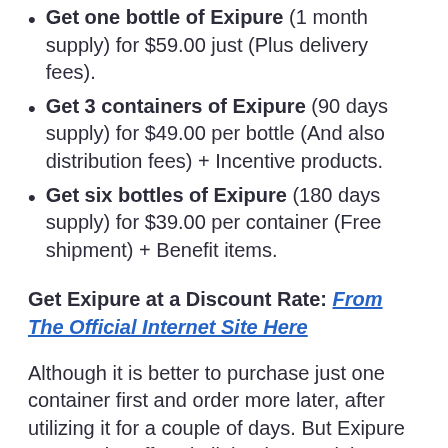Get one bottle of Exipure (1 month supply) for $59.00 just (Plus delivery fees).
Get 3 containers of Exipure (90 days supply) for $49.00 per bottle (And also distribution fees) + Incentive products.
Get six bottles of Exipure (180 days supply) for $39.00 per container (Free shipment) + Benefit items.
Get Exipure at a Discount Rate: From The Official Internet Site Here
Although it is better to purchase just one container first and order more later, after utilizing it for a couple of days. But Exipure may not be offered all the time, as it is a prominent item with high need. The company can only manufacture a restricted